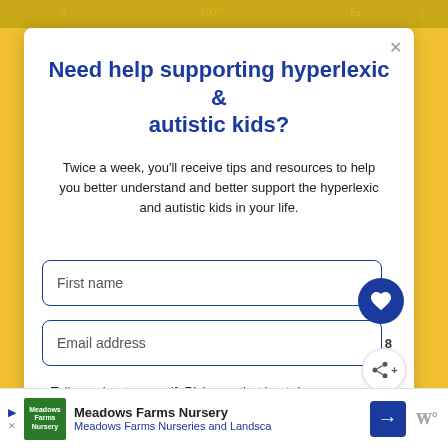Need help supporting hyperlexic & autistic kids?
Twice a week, you'll receive tips and resources to help you better understand and better support the hyperlexic and autistic kids in your life.
First name
Email address
Tell me about yourself. Pick one that best describes why you're here.
I'm a parent or grandparent
WHAT'S NEXT → 10 Amazing DIY Sensory...
Meadows Farms Nursery — Meadows Farms Nurseries and Landsca...